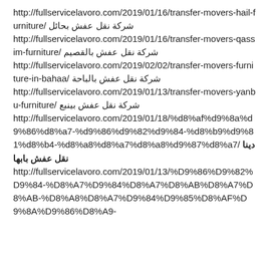http://fullservicelavoro.com/2019/01/16/transfer-movers-hail-furniture/ شركة نقل عفش بحائل http://fullservicelavoro.com/2019/01/16/transfer-movers-qassim-furniture/ شركة نقل عفش بالقصيم http://fullservicelavoro.com/2019/02/02/transfer-movers-furniture-in-bahaa/ شركة نقل عفش بالباحة http://fullservicelavoro.com/2019/01/13/transfer-movers-yanbu-furniture/ شركة نقل عفش بينبع http://fullservicelavoro.com/2019/01/18/%d8%af%d9%8a%d9%86%d8%a7-%d9%86%d9%82%d9%84-%d8%b9%d9%81%d8%b4-%d8%a8%d8%a7%d8%a8%d9%87%d8%a7/ دينا نقل عفش بابها http://fullservicelavoro.com/2019/01/13/%D9%86%D9%82%D9%84-%D8%A7%D9%84%D8%A7%D8%AB%D8%A7%D8%AB-%D8%A8%D8%A7%D9%84%D9%85%D8%AF%D9%8A%D9%86%D8%A9-